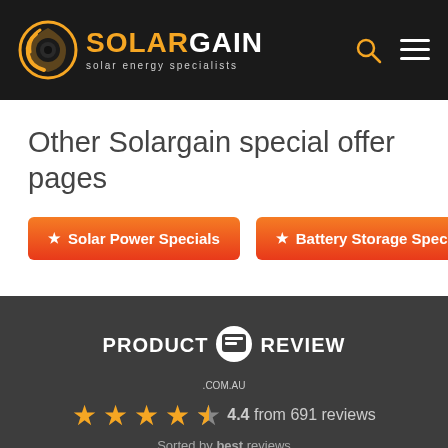[Figure (logo): SolarGain logo with orange swirl icon and text 'SOLARGAIN solar energy specialists' on black background, with search and menu icons on the right]
Other Solargain special offer pages
★ Solar Power Specials
★ Battery Storage Specials
[Figure (logo): Product Review .com.au logo with box icon, 4.4 star rating from 691 reviews, sorted by best reviews]
1300 718 865